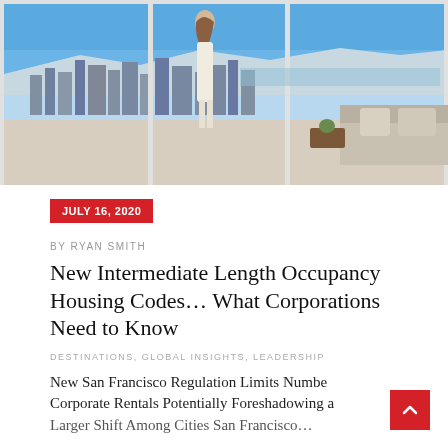[Figure (photo): A woman in white standing at a large floor-to-ceiling window overlooking a city skyline (San Francisco) with a blue sky and bay in the background; a sofa with pillows is visible on the right side.]
JULY 16, 2020
BY RYAN SMITH
New Intermediate Length Occupancy Housing Codes… What Corporations Need to Know
DESTINATIONS, GLOBAL INSIGHTS, LEADERSHIP
New San Francisco Regulation Limits Number Corporate Rentals Potentially Foreshadowing a Larger Shift Among Cities San Francisco…